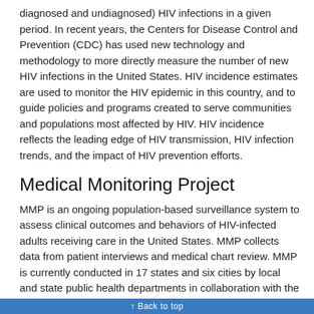diagnosed and undiagnosed) HIV infections in a given period. In recent years, the Centers for Disease Control and Prevention (CDC) has used new technology and methodology to more directly measure the number of new HIV infections in the United States. HIV incidence estimates are used to monitor the HIV epidemic in this country, and to guide policies and programs created to serve communities and populations most affected by HIV. HIV incidence reflects the leading edge of HIV transmission, HIV infection trends, and the impact of HIV prevention efforts.
Medical Monitoring Project
MMP is an ongoing population-based surveillance system to assess clinical outcomes and behaviors of HIV-infected adults receiving care in the United States. MMP collects data from patient interviews and medical chart review. MMP is currently conducted in 17 states and six cities by local and state public health departments in collaboration with the CDC.
Black Mpowerment Project Evaluation Studies
The Mpowerment Project is a proven intervention for young gay and bisexual men that reduces the rate of unprotected sex and thus lowers the rate of new HIV infection. The Black Mpowerment Project
Back to top